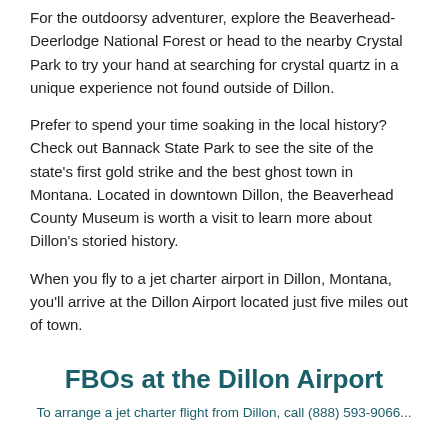For the outdoorsy adventurer, explore the Beaverhead-Deerlodge National Forest or head to the nearby Crystal Park to try your hand at searching for crystal quartz in a unique experience not found outside of Dillon.
Prefer to spend your time soaking in the local history? Check out Bannack State Park to see the site of the state's first gold strike and the best ghost town in Montana. Located in downtown Dillon, the Beaverhead County Museum is worth a visit to learn more about Dillon's storied history.
When you fly to a jet charter airport in Dillon, Montana, you'll arrive at the Dillon Airport located just five miles out of town.
FBOs at the Dillon Airport
To arrange a jet charter flight from Dillon, call (888) 593-9066...